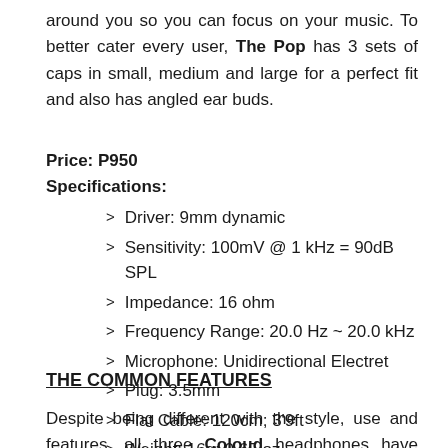around you so you can focus on your music. To better cater every user, The Pop has 3 sets of caps in small, medium and large for a perfect fit and also has angled ear buds.
Price: P950
Specifications:
Driver: 9mm dynamic
Sensitivity: 100mV @ 1 kHz = 90dB SPL
Impedance: 16 ohm
Frequency Range: 20.0 Hz ~ 20.0 kHz
Microphone: Unidirectional Electret
Plug: 3.5mm
Flat Cable: 120cm; 3'9ft
Weight: 16g; 0.65 oz
THE COMMON FEATURES
Despite being different with the style, use and features, all three Coloud headphones have commonalities. First